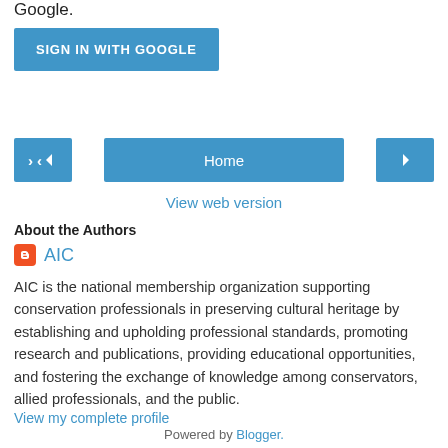Google.
[Figure (screenshot): Blue 'SIGN IN WITH GOOGLE' button]
[Figure (screenshot): Navigation row with left arrow, Home button, and right arrow]
View web version
About the Authors
AIC
AIC is the national membership organization supporting conservation professionals in preserving cultural heritage by establishing and upholding professional standards, promoting research and publications, providing educational opportunities, and fostering the exchange of knowledge among conservators, allied professionals, and the public.
View my complete profile
Powered by Blogger.